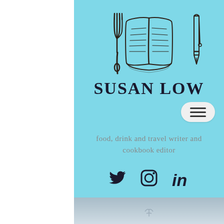[Figure (illustration): Hand-drawn illustration of a fork on the left, an open book in the center, and a fountain pen/quill on the right, rendered in dark brown sketch style on a light blue background]
SUSAN LOW
[Figure (other): Hamburger menu button (three horizontal lines) in a rounded rectangle]
food, drink and travel writer and cookbook editor
[Figure (other): Social media icons: Twitter bird, Instagram camera, LinkedIn 'in' logo]
[Figure (photo): Partial photograph visible at bottom of page, appears to be a landscape or food photo with light blue-grey tones]